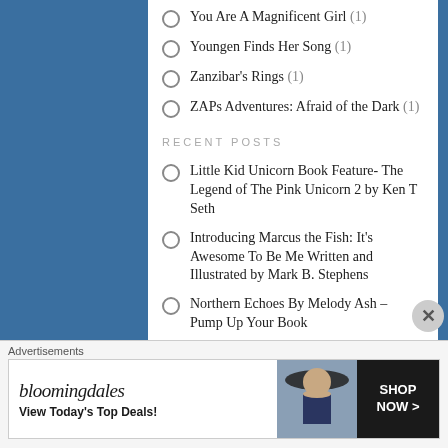You Are A Magnificent Girl (1)
Youngen Finds Her Song (1)
Zanzibar's Rings (1)
ZAPs Adventures: Afraid of the Dark (1)
RECENT POSTS
Little Kid Unicorn Book Feature- The Legend of The Pink Unicorn 2 by Ken T Seth
Introducing Marcus the Fish: It's Awesome To Be Me Written and Illustrated by Mark B. Stephens
Northern Echoes By Melody Ash – Pump Up Your Book
Youngen Finds Her Song By Maria J. Andrade – Pump Up Your Book
The Best Book For Children To Learn How To Tie
Advertisements
[Figure (illustration): Bloomingdale's advertisement banner with logo text 'bloomingdales', tagline 'View Today's Top Deals!', a woman with a large hat, and a 'SHOP NOW >' button.]